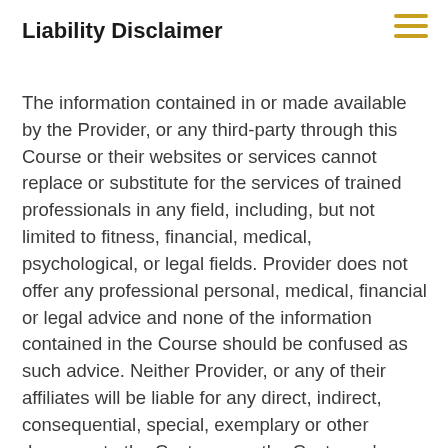Liability Disclaimer
The information contained in or made available by the Provider, or any third-party through this Course or their websites or services cannot replace or substitute for the services of trained professionals in any field, including, but not limited to fitness, financial, medical, psychological, or legal fields. Provider does not offer any professional personal, medical, financial or legal advice and none of the information contained in the Course should be confused as such advice. Neither Provider, or any of their affiliates will be liable for any direct, indirect, consequential, special, exemplary or other damages to the Customer or the Customer's business, including physical injury of economic loss, that may